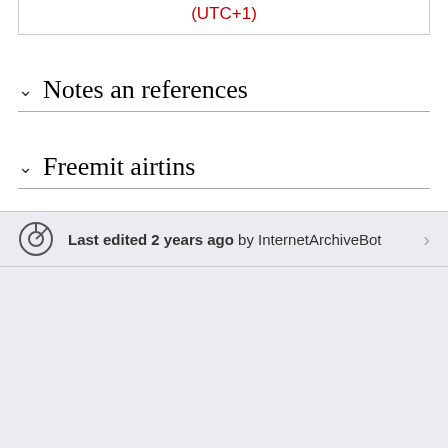| (UTC+1) |
Notes an references
Freemit airtins
Last edited 2 years ago by InternetArchiveBot